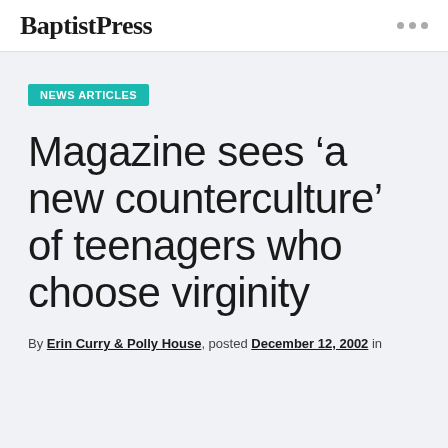BaptistPress
NEWS ARTICLES
Magazine sees ‘a new counterculture’ of teenagers who choose virginity
By Erin Curry & Polly House, posted December 12, 2002 in